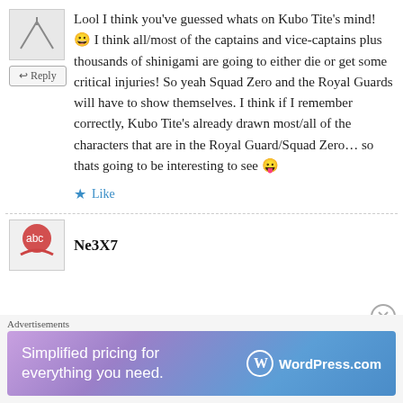Lool I think you've guessed whats on Kubo Tite's mind! 😀 I think all/most of the captains and vice-captains plus thousands of shinigami are going to either die or get some critical injuries! So yeah Squad Zero and the Royal Guards will have to show themselves. I think if I remember correctly, Kubo Tite's already drawn most/all of the characters that are in the Royal Guard/Squad Zero… so thats going to be interesting to see 😛
★ Like
Ne3X7
[Figure (screenshot): WordPress.com advertisement banner: 'Simplified pricing for everything you need.' with WordPress.com logo]